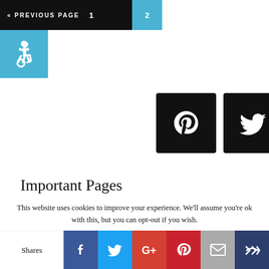« PREVIOUS PAGE   1   2
[Figure (illustration): Accessibility wheelchair icon on blue square background]
[Figure (illustration): Pinterest and Twitter social media icon buttons (black square backgrounds)]
Important Pages
Marketing Glossary Terms
Report a Scam
How To Avoid Online Scams
This website uses cookies to improve your experience. We'll assume you're ok with this, but you can opt-out if you wish.
Shares | Facebook | Twitter | Google+ | Pinterest | Email | Crown